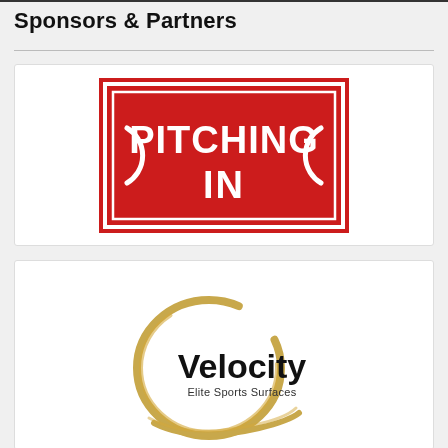Sponsors & Partners
[Figure (logo): Pitching In logo — red rectangle with white border and white bold text reading PITCHING IN, with goal-post arc shapes on the left and right sides]
[Figure (logo): Velocity Elite Sports Surfaces logo — gold circular brushstroke with black bold text Velocity and smaller text Elite Sports Surfaces]